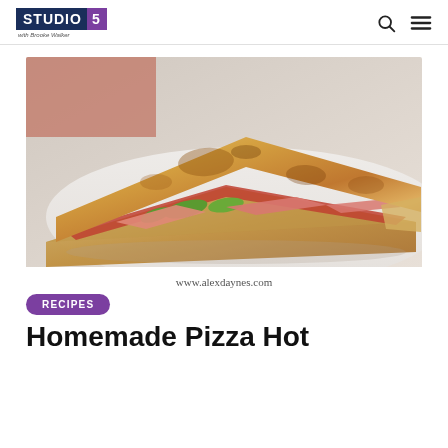STUDIO 5 with Brooke Walker
[Figure (photo): Close-up photo of folded pizza quesadillas on a white plate, showing layers of tortilla with tomato sauce, green peppers, and ham filling, golden-brown toasted exterior. Credit: www.alexdaynes.com]
www.alexdaynes.com
RECIPES
Homemade Pizza Hot